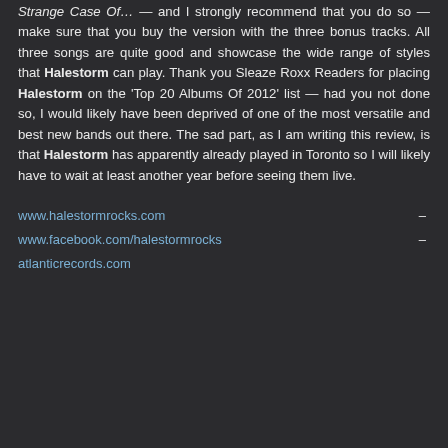Strange Case Of… — and I strongly recommend that you do so — make sure that you buy the version with the three bonus tracks. All three songs are quite good and showcase the wide range of styles that Halestorm can play. Thank you Sleaze Roxx Readers for placing Halestorm on the 'Top 20 Albums Of 2012' list — had you not done so, I would likely have been deprived of one of the most versatile and best new bands out there. The sad part, as I am writing this review, is that Halestorm has apparently already played in Toronto so I will likely have to wait at least another year before seeing them live.
www.halestormrocks.com – www.facebook.com/halestormrocks – atlanticrecords.com